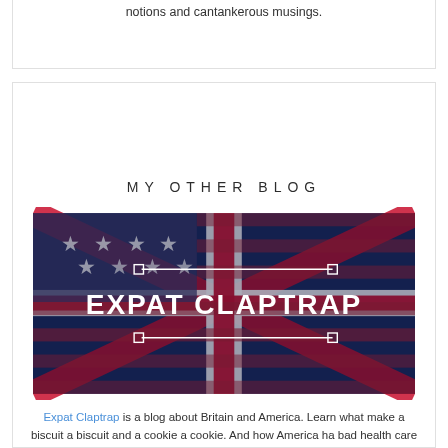notions and cantankerous musings.
MY OTHER BLOG
[Figure (photo): Photo of British and American flags overlaid with bold white text reading 'EXPAT CLAPTRAP' and white rectangular selection handles around the text area]
Expat Claptrap is a blog about Britain and America. Learn what make a biscuit a biscuit and a cookie a cookie. And how America ha bad health care and too many guns, but Britain has terrible nachos. So it's even.